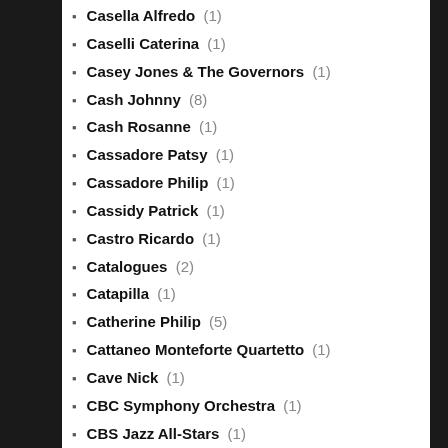Casella Alfredo (1)
Caselli Caterina (1)
Casey Jones & The Governors (1)
Cash Johnny (8)
Cash Rosanne (1)
Cassadore Patsy (1)
Cassadore Philip (1)
Cassidy Patrick (1)
Castro Ricardo (1)
Catalogues (2)
Catapilla (1)
Catherine Philip (5)
Cattaneo Monteforte Quartetto (1)
Cave Nick (1)
CBC Symphony Orchestra (1)
CBS Jazz All-Stars (1)
Cecilia und die Sauerkrauts (1)
Cedric Watson & Bijou Creole (1)
Celentano Adriano (1)
Celestin's Original Tuxedo Jazz Orchestra (1)
Celilo (1)
Cellier Marcel (1)